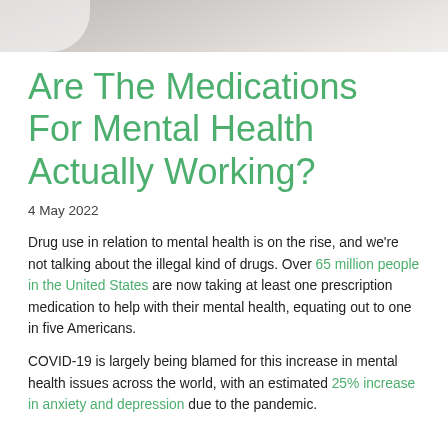[Figure (photo): Top portion of a photo, likely showing medications or a person, cropped — only the bottom edge visible as a gray/beige strip]
Are The Medications For Mental Health Actually Working?
4 May 2022
Drug use in relation to mental health is on the rise, and we're not talking about the illegal kind of drugs. Over 65 million people in the United States are now taking at least one prescription medication to help with their mental health, equating out to one in five Americans.
COVID-19 is largely being blamed for this increase in mental health issues across the world, with an estimated 25% increase in anxiety and depression due to the pandemic.